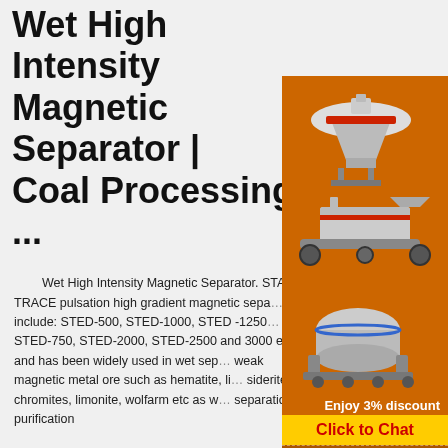Wet High Intensity Magnetic Separator | Coal Processing ...
Wet High Intensity Magnetic Separator. STAR TRACE pulsation high gradient magnetic separator include: STED-500, STED-1000, STED -1250-500, STED-750, STED-2000, STED-2500 and 3000 etc and has been widely used in wet separation weak magnetic metal ore such as hematite, limonite, siderite, chromites, limonite, wolfarm etc as well separation for purification
[Figure (illustration): Orange advertisement panel with mining/crushing machinery illustrations, showing three different machines stacked vertically on orange background]
Enjoy 3% discount
Click to Chat
Enquiry
limingjlmofen@sina.com
Whims Wet High Intensity Magnetic Separators /Hema...
...